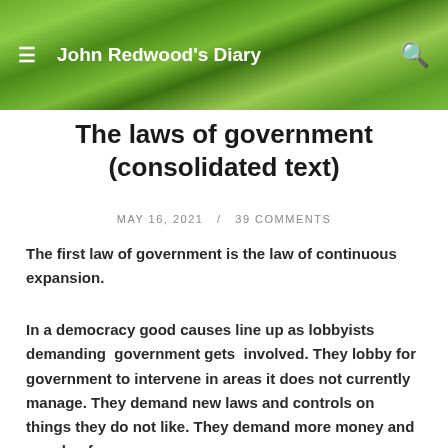John Redwood's Diary
The laws of government (consolidated text)
MAY 16, 2021  /  39 COMMENTS
The first law of government is the law of continuous expansion.
In a democracy good causes line up as lobbyists demanding  government gets  involved. They lobby for government to intervene in areas it does not currently manage. They demand new laws and controls on things they do not like. They demand more money and supply of